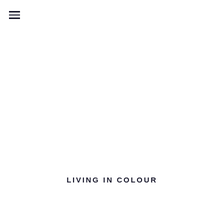[Figure (other): Hamburger menu icon — three horizontal lines stacked vertically, positioned top-left]
LIVING IN COLOUR